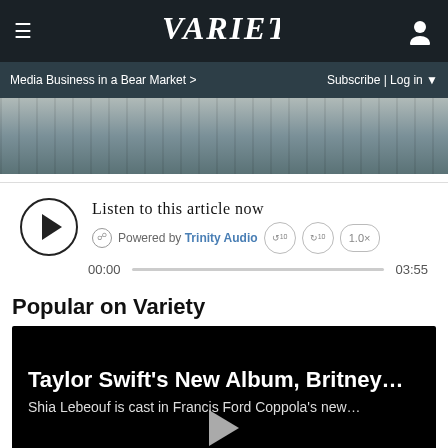Variety
Media Business in a Bear Market >    Subscribe | Log in
[Figure (photo): Aerial or overhead photo of what appears to be a broadcast studio or facility with equipment and structures]
[Figure (other): Audio player widget: Listen to this article now, Powered by Trinity Audio, time 00:00 / 03:55, speed 1.0x]
Popular on Variety
[Figure (other): Video card with dark background showing: Taylor Swift's New Album, Britney... / Shia Lebeouf is cast in Francis Ford Coppola's new... with play button]